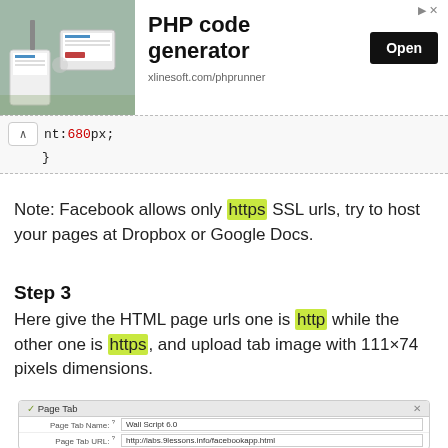[Figure (screenshot): Ad banner for PHP code generator by xlinesoft.com/phprunner with an Open button]
nt:680px;
}
Note: Facebook allows only https SSL urls, try to host your pages at Dropbox or Google Docs.
Step 3
Here give the HTML page urls one is http while the other one is https, and upload tab image with 111×74 pixels dimensions.
[Figure (screenshot): Facebook Page Tab settings form showing Page Tab Name, Page Tab URL, Secure Page Tab URL, and Page Tab Edit URL fields]